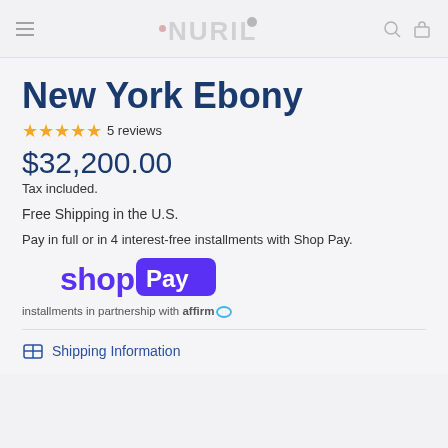NURILENS
New York Ebony
★★★★★ 5 reviews
$32,200.00
Tax included.
Free Shipping in the U.S.
Pay in full or in 4 interest-free installments with Shop Pay.
[Figure (logo): Shop Pay logo with purple text and badge]
installments in partnership with affirm
Shipping Information